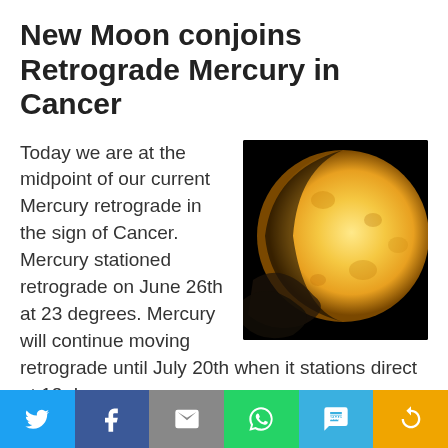New Moon conjoins Retrograde Mercury in Cancer
[Figure (photo): Close-up photo of a full moon with golden hue against a dark black background]
Today we are at the midpoint of our current Mercury retrograde in the sign of Cancer. Mercury stationed retrograde on June 26th at 23 degrees. Mercury will continue moving retrograde until July 20th when it stations direct at 13 degrees.
Mercury retrogrades are times for us to slow down, reflect and reconsider recent events and
[Figure (infographic): Social media share bar with Twitter, Facebook, Email, WhatsApp, SMS, and More buttons]